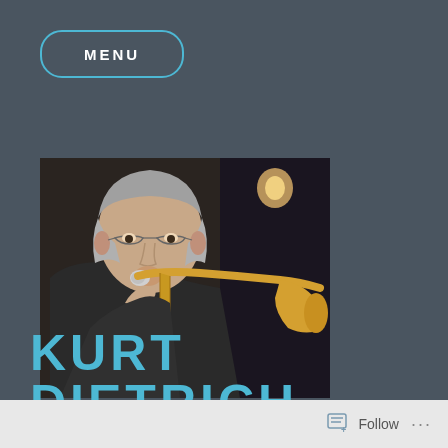MENU
[Figure (photo): A man playing a trombone, seen from a slightly low angle. He is an older gentleman with gray hair wearing glasses and a dark jacket. The trombone is brass/gold colored. Background is dark.]
KURT DIETRICH
Follow ...